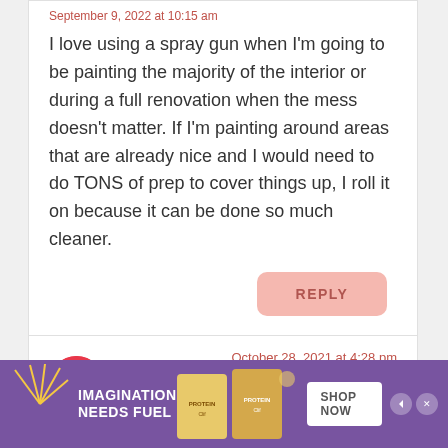September 9, 2022 at 10:15 am
I love using a spray gun when I'm going to be painting the majority of the interior or during a full renovation when the mess doesn't matter. If I'm painting around areas that are already nice and I would need to do TONS of prep to cover things up, I roll it on because it can be done so much cleaner.
REPLY
October 28, 2021 at 4:28 pm
Susannah
[Figure (illustration): Advertisement banner with purple background showing 'IMAGINATION NEEDS FUEL' text and protein bar products with SHOP NOW button]